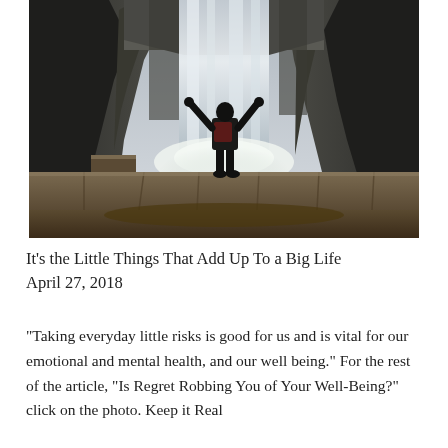[Figure (photo): Person standing with arms raised on a stone ledge in front of a large waterfall, wearing dark clothing, dramatic nature scene with mist and rocky cliffs]
It's the Little Things That Add Up To a Big Life
April 27, 2018
“Taking everyday little risks is good for us and is vital for our emotional and mental health, and our well being.” For the rest of the article, “Is Regret Robbing You of Your Well-Being?” click on the photo. Keep it Real